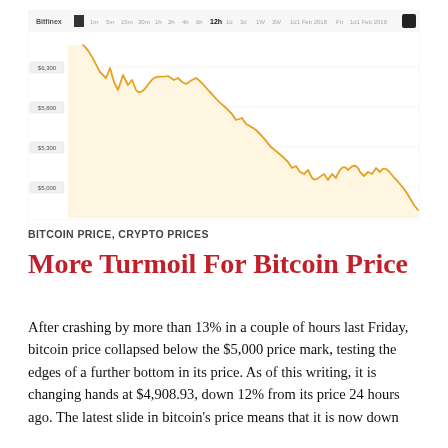[Figure (continuous-plot): Bitcoin price line chart showing a sharp decline from approximately $8,000 down to below $5,000 over the period shown. The chart has a golden/amber colored line with a light yellow shaded area beneath it. Y-axis labels show price levels around $6,300, $5,800, $5,300, $5,000. The chart header shows 'Bitfinex', '1m', '5m', '15m', '30m', '1h', '2h', '4h', '6h', '12h' time intervals with '1d' selected, and date labels '1d1 Feb 2018', 'Fri', '1d1 Feb 2018'.]
BITCOIN PRICE, CRYPTO PRICES
More Turmoil For Bitcoin Price
After crashing by more than 13% in a couple of hours last Friday, bitcoin price collapsed below the $5,000 price mark, testing the edges of a further bottom in its price. As of this writing, it is changing hands at $4,908.93, down 12% from its price 24 hours ago. The latest slide in bitcoin's price means that it is now down